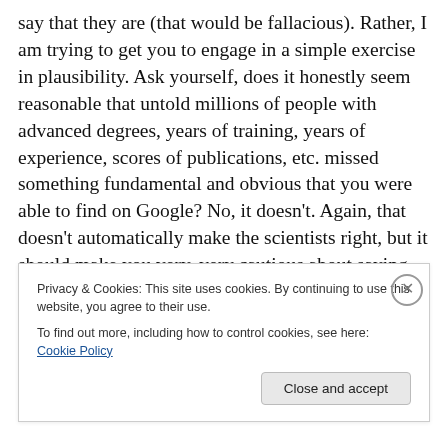say that they are (that would be fallacious). Rather, I am trying to get you to engage in a simple exercise in plausibility. Ask yourself, does it honestly seem reasonable that untold millions of people with advanced degrees, years of training, years of experience, scores of publications, etc. missed something fundamental and obvious that you were able to find on Google? No, it doesn't. Again, that doesn't automatically make the scientists right, but it should make you very, very cautious about saying that they are wrong. It should give you great humility, and you should fact check extremely carefully
Privacy & Cookies: This site uses cookies. By continuing to use this website, you agree to their use.
To find out more, including how to control cookies, see here: Cookie Policy